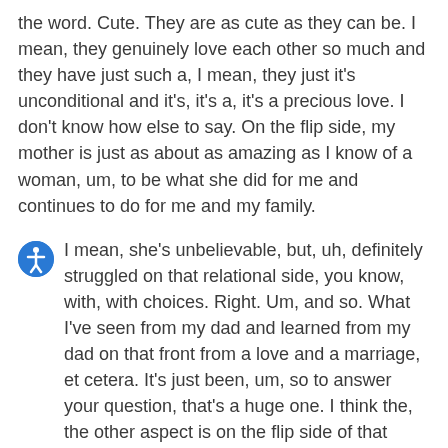the word. Cute. They are as cute as they can be. I mean, they genuinely love each other so much and they have just such a, I mean, they just it's unconditional and it's, it's a, it's a precious love. I don't know how else to say. On the flip side, my mother is just as about as amazing as I know of a woman, um, to be what she did for me and continues to do for me and my family.
I mean, she's unbelievable, but, uh, definitely struggled on that relational side, you know, with, with choices. Right. Um, and so. What I've seen from my dad and learned from my dad on that front from a love and a marriage, et cetera. It's just been, um, so to answer your question, that's a huge one. I think the, the other aspect is on the flip side of that would be that I w like I mentioned, I alluded to earlier worked very, very hard to ensure that my kids didn't grow up with the same environment as I did.
My parents wanted nothing but the best for me, but